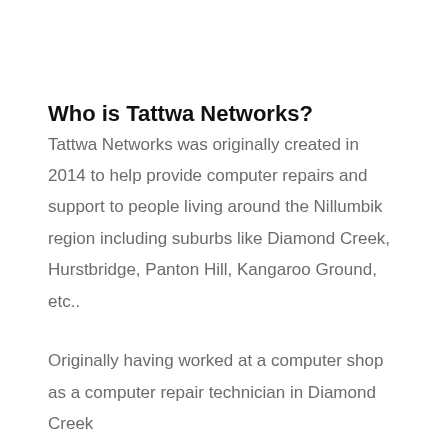Who is Tattwa Networks?
Tattwa Networks was originally created in 2014 to help provide computer repairs and support to people living around the Nillumbik region including suburbs like Diamond Creek, Hurstbridge, Panton Hill, Kangaroo Ground, etc..
Originally having worked at a computer shop as a computer repair technician in Diamond Creek